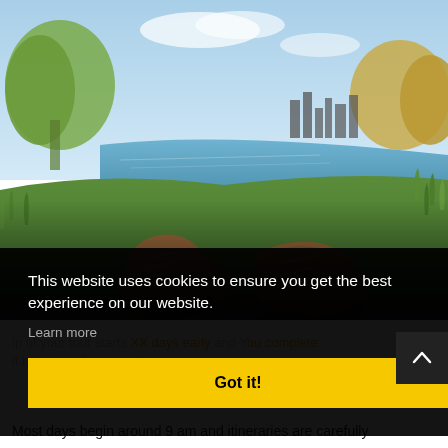[Figure (photo): Person lying on grass near a river or lake, feet in brown suede lace-up boots visible in foreground, city skyline in background, trees and blue sky visible]
This website uses cookies to ensure you get the best experience on our website.
Learn more
Got it!
Most days begin around 9 am and itineraries are carefully